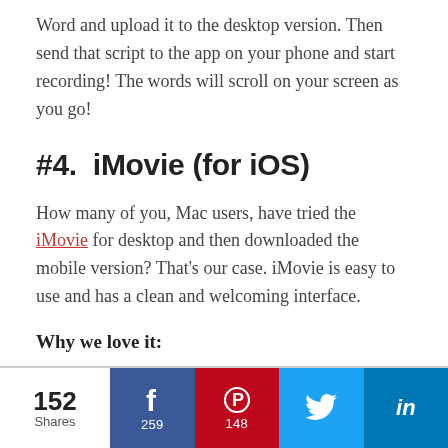Word and upload it to the desktop version. Then send that script to the app on your phone and start recording! The words will scroll on your screen as you go!
#4.  iMovie (for iOS)
How many of you, Mac users, have tried the iMovie for desktop and then downloaded the mobile version? That's our case. iMovie is easy to use and has a clean and welcoming interface.
Why we love it:
152 Shares | 259 Facebook | 148 Pinterest | Twitter | LinkedIn